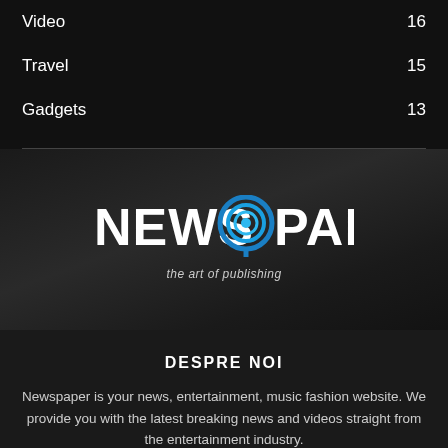Video  16
Travel  15
Gadgets  13
[Figure (logo): NEWS 9 PAPER logo with blue 9 icon and tagline 'the art of publishing']
DESPRE NOI
Newspaper is your news, entertainment, music fashion website. We provide you with the latest breaking news and videos straight from the entertainment industry.